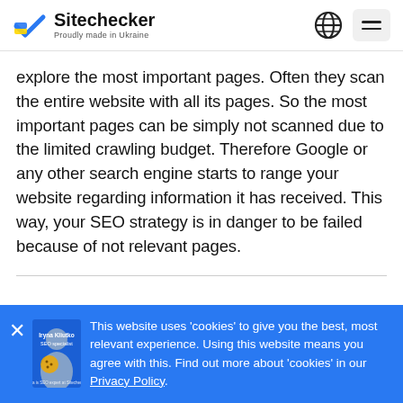Sitechecker — Proudly made in Ukraine
explore the most important pages. Often they scan the entire website with all its pages. So the most important pages can be simply not scanned due to the limited crawling budget. Therefore Google or any other search engine starts to range your website regarding information it has received. This way, your SEO strategy is in danger to be failed because of not relevant pages.
This website uses 'cookies' to give you the best, most relevant experience. Using this website means you agree with this. Find out more about 'cookies' in our Privacy Policy.